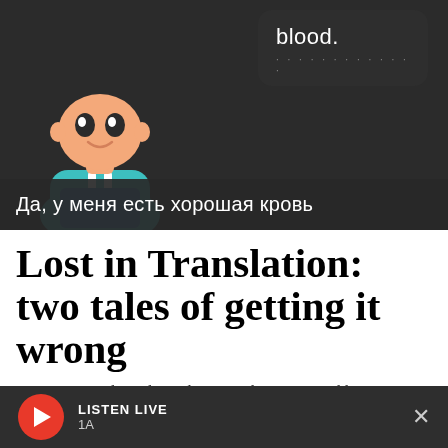[Figure (screenshot): Screenshot of Duolingo app showing a cartoon character with a speech bubble saying 'blood.' and a Russian subtitle bar reading 'Да, у меня есть хорошая кровь']
Lost in Translation: two tales of getting it wrong
From a seriously violent tale on Duolingo to a Reddit...
LISTEN LIVE 1A